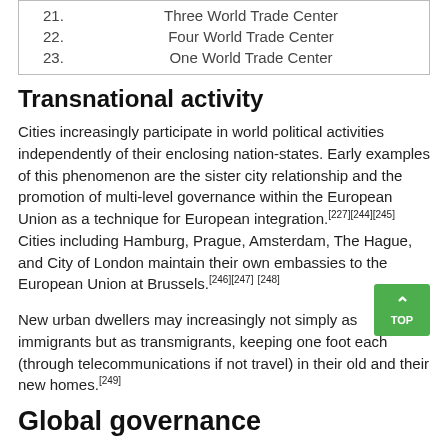| 21. | Three World Trade Center |
| 22. | Four World Trade Center |
| 23. | One World Trade Center |
Transnational activity
Cities increasingly participate in world political activities independently of their enclosing nation-states. Early examples of this phenomenon are the sister city relationship and the promotion of multi-level governance within the European Union as a technique for European integration.[227][244][245] Cities including Hamburg, Prague, Amsterdam, The Hague, and City of London maintain their own embassies to the European Union at Brussels.[246][247][248]
New urban dwellers may increasingly not simply as immigrants but as transmigrants, keeping one foot each (through telecommunications if not travel) in their old and their new homes.[249]
Global governance